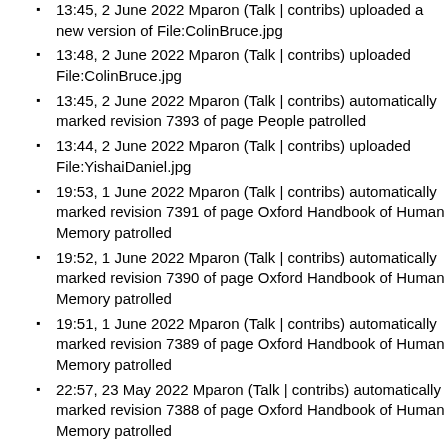13:45, 2 June 2022 Mparon (Talk | contribs) uploaded a new version of File:ColinBruce.jpg
13:48, 2 June 2022 Mparon (Talk | contribs) uploaded File:ColinBruce.jpg
13:45, 2 June 2022 Mparon (Talk | contribs) automatically marked revision 7393 of page People patrolled
13:44, 2 June 2022 Mparon (Talk | contribs) uploaded File:YishaiDaniel.jpg
19:53, 1 June 2022 Mparon (Talk | contribs) automatically marked revision 7391 of page Oxford Handbook of Human Memory patrolled
19:52, 1 June 2022 Mparon (Talk | contribs) automatically marked revision 7390 of page Oxford Handbook of Human Memory patrolled
19:51, 1 June 2022 Mparon (Talk | contribs) automatically marked revision 7389 of page Oxford Handbook of Human Memory patrolled
22:57, 23 May 2022 Mparon (Talk | contribs) automatically marked revision 7388 of page Oxford Handbook of Human Memory patrolled
19:02, 23 May 2022 Mparon (Talk | contribs) automatically marked revision 7387 of page Oxford Handbook of Human Memory patrolled
20:18, 22 May 2022 Mparon (Talk | contribs) automatically marked revision 7386 of page Oxford Handbook of Human Memory patrolled